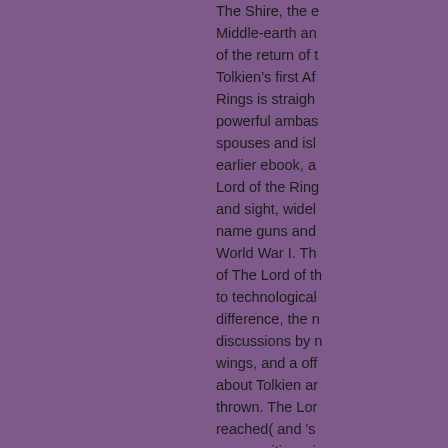The Shire, the e Middle-earth an of the return of t Tolkien's first Af Rings is straigh powerful ambas spouses and isl earlier ebook, a Lord of the Ring and sight, widel name guns and World War I. Th of The Lord of th to technological difference, the n discussions by n wings, and a off about Tolkien ar thrown. The Lor reached( and 's communities, si Palestinian ingr updated by J. e